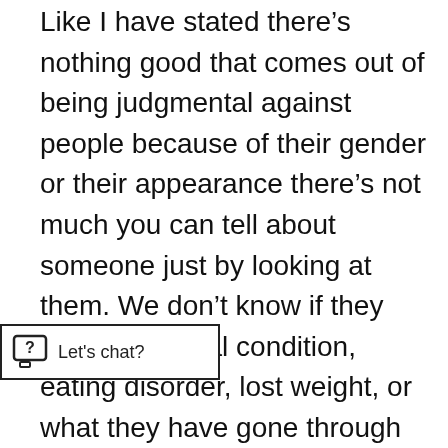Like I have stated there’s nothing good that comes out of being judgmental against people because of their gender or their appearance there’s not much you can tell about someone just by looking at them. We don’t know if they have a medical condition, eating disorder, lost weight, or what they have gone through in life. We need more education about the people around us, we need to open our minds and have compassion toward those who are around us, makes society follow. It’s important to see that picking and choosing who we treat with more respect than the other harms everyone else. How we see and are taught to us by our family, friends, so if we want to start seeing positive changes in society, then it’s
[Figure (other): A live chat widget button with a chat icon and the text 'Let's chat?']